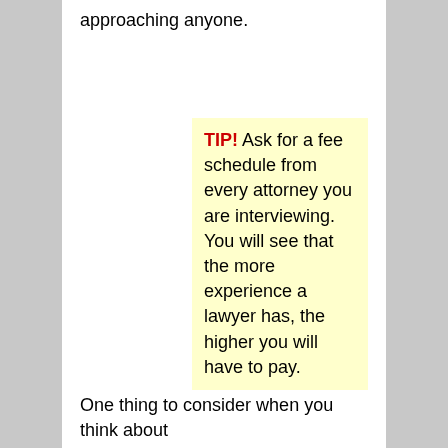approaching anyone.
TIP! Ask for a fee schedule from every attorney you are interviewing. You will see that the more experience a lawyer has, the higher you will have to pay.
One thing to consider when you think about